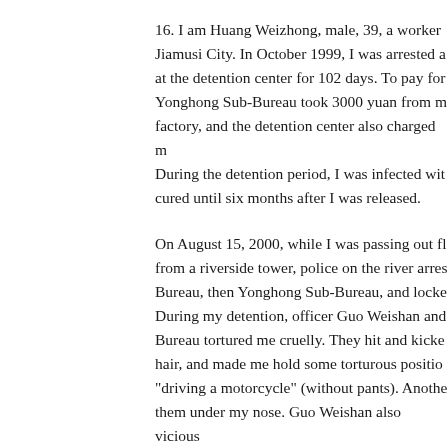16. I am Huang Weizhong, male, 39, a worker in Jiamusi City. In October 1999, I was arrested a at the detention center for 102 days. To pay for Yonghong Sub-Bureau took 3000 yuan from m factory, and the detention center also charged m During the detention period, I was infected wit cured until six months after I was released.
On August 15, 2000, while I was passing out fl from a riverside tower, police on the river arres Bureau, then Yonghong Sub-Bureau, and locke During my detention, officer Guo Weishan and Bureau tortured me cruelly. They hit and kicke hair, and made me hold some torturous positio "driving a motorcycle" (without pants). Anothe them under my nose. Guo Weishan also vicious insulted my wife and me. He said, "I will sente